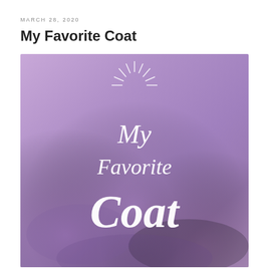MARCH 28, 2020
My Favorite Coat
[Figure (illustration): Book cover with purple/lavender gradient background and white script text reading 'My Favorite Coat' with a decorative sunburst element above the text]